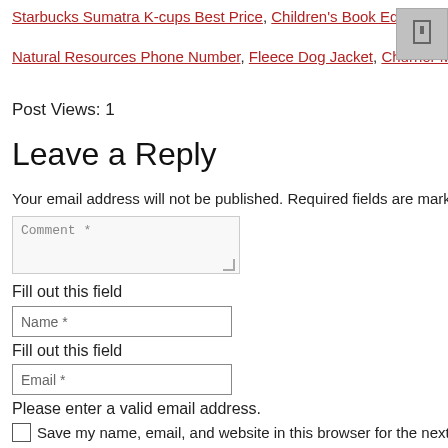Starbucks Sumatra K-cups Best Price, Children's Book Editor Jobs R… Natural Resources Phone Number, Fleece Dog Jacket, Churner Mean…
Post Views: 1
Leave a Reply
Your email address will not be published. Required fields are marked
Comment *
Fill out this field
Name *
Fill out this field
Email *
Please enter a valid email address.
Save my name, email, and website in this browser for the next ti…